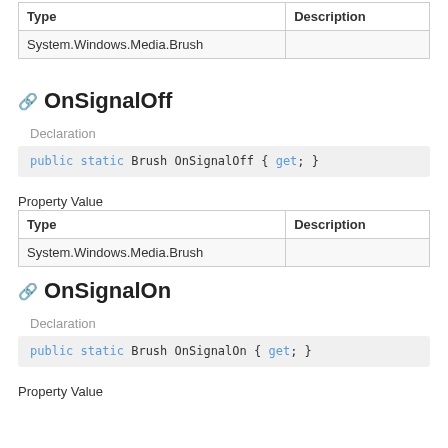| Type | Description |
| --- | --- |
| System.Windows.Media.Brush |  |
OnSignalOff
Declaration
public static Brush OnSignalOff { get; }
Property Value
| Type | Description |
| --- | --- |
| System.Windows.Media.Brush |  |
OnSignalOn
Declaration
public static Brush OnSignalOn { get; }
Property Value